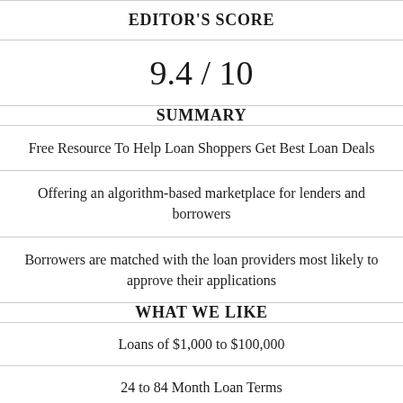EDITOR'S SCORE
9.4 / 10
SUMMARY
Free Resource To Help Loan Shoppers Get Best Loan Deals
Offering an algorithm-based marketplace for lenders and borrowers
Borrowers are matched with the loan providers most likely to approve their applications
WHAT WE LIKE
Loans of $1,000 to $100,000
24 to 84 Month Loan Terms